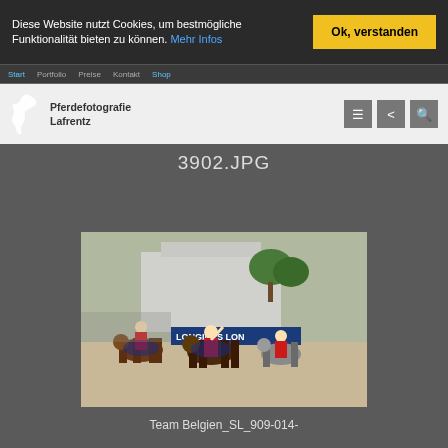Diese Website nutzt Cookies, um bestmögliche Funktionalität bieten zu können. Mehr Infos
Ok, verstanden
[Figure (screenshot): Pferdefotografie Lafrentz website header with logo (horse silhouette) and navigation icons (menu, share, search)]
3902.JPG
[Figure (photo): Equestrian show jumping team on horseback, riders in red jackets on horses, celebrating with arms raised, LONGINES sponsor banner visible in background, sandy arena]
Team Belgien_SL_909-014-